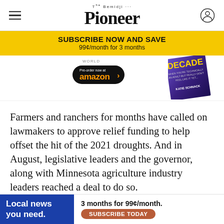The Bemidji Pioneer
[Figure (infographic): Yellow subscription banner reading SUBSCRIBE NOW AND SAVE 99¢/month for 3 months]
[Figure (photo): Book advertisement showing a book titled DECADE by Katie Schnack with an Amazon pre-order button]
Farmers and ranchers for months have called on lawmakers to approve relief funding to help offset the hit of the 2021 droughts. And in August, legislative leaders and the governor, along with Minnesota agriculture industry leaders reached a deal to do so.
But in the end Republicans said t... o take
[Figure (infographic): Bottom ad banner: Local news you need. 3 months for 99¢/month. SUBSCRIBE TODAY]